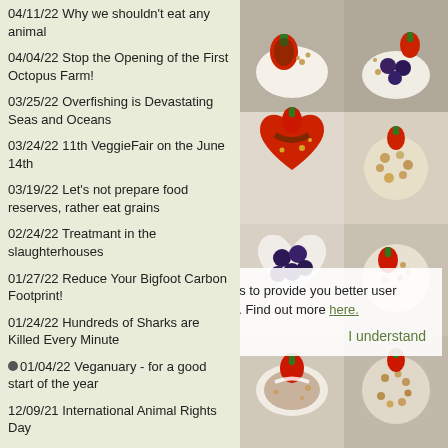04/11/22 Why we shouldn't eat any animal
04/04/22 Stop the Opening of the First Octopus Farm!
03/25/22 Overfishing is Devastating Seas and Oceans
03/24/22 11th VeggieFair on the June 14th
03/19/22 Let's not prepare food reserves, rather eat grains
02/24/22 Treatmant in the slaughterhouses
01/27/22 Reduce Your Bigfoot Carbon Footprint!
01/24/22 Hundreds of Sharks are Killed Every Minute
01/04/22 Veganuary - for a good start of the year
12/09/21 International Animal Rights Day
11/24/21 A season of bloody courtyards and shameful tradition
10/27/21 Don't shoot at them, it's not their fault
10/20/21 Tourists were petting them. Ministry ordered shooting
[Figure (photo): Grid of food photos showing decorated desserts and fruit-topped treats on a wooden surface, including heart-shaped and round desserts with strawberries, blueberries, and nuts.]
This website is using cookies to provide you better user experience and functionality. Find out more here.
I understand